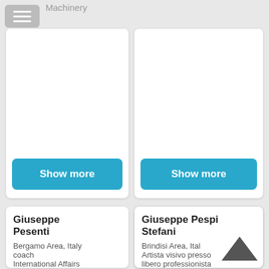Machinery
[Figure (screenshot): Hamburger menu button (three horizontal white lines on grey rounded rectangle background)]
[Figure (screenshot): Card with empty body and Show more button (left column, top row)]
[Figure (screenshot): Card with empty body and Show more button (right column, top row)]
Giuseppe Pesenti
Bergamo Area, Italy
coach
International Affairs
Giuseppe Pespi Stefani
Brindisi Area, Italy
Artista visivo presso
libero professionista
[Figure (illustration): Back to top chevron/arrow up icon (dark grey chevron pointing upward)]